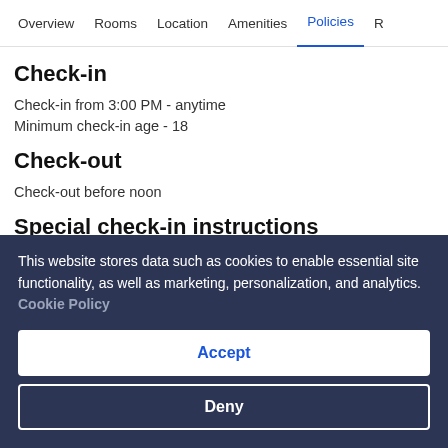Overview  Rooms  Location  Amenities  Policies  R
Check-in
Check-in from 3:00 PM - anytime
Minimum check-in age - 18
Check-out
Check-out before noon
Special check-in instructions
Front desk staff will…
This website stores data such as cookies to enable essential site functionality, as well as marketing, personalization, and analytics. Cookie Policy
Accept
Deny